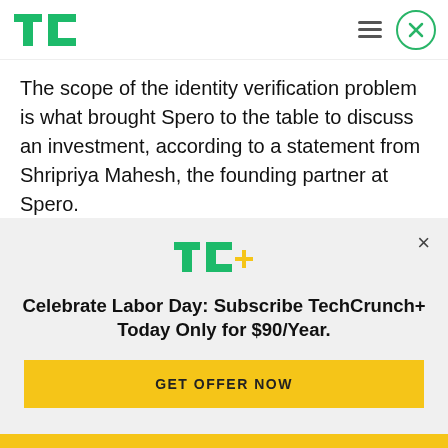TechCrunch
The scope of the identity verification problem is what brought Spero to the table to discuss an investment, according to a statement from Shripriya Mahesh, the founding partner at Spero.
“For us, identity is foundational to scaling the vast array of gig economy, fintech, social and commerce
[Figure (logo): TC+ logo in green and yellow]
Celebrate Labor Day: Subscribe TechCrunch+ Today Only for $90/Year.
GET OFFER NOW